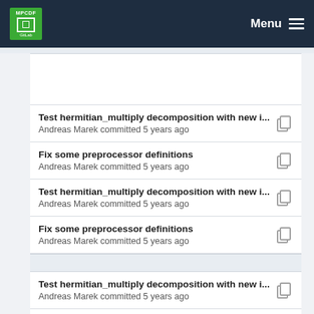MPCDF Menu
Test hermitian_multiply decomposition with new i...
Andreas Marek committed 5 years ago
Fix some preprocessor definitions
Andreas Marek committed 5 years ago
Test hermitian_multiply decomposition with new i...
Andreas Marek committed 5 years ago
Fix some preprocessor definitions
Andreas Marek committed 5 years ago
Test hermitian_multiply decomposition with new i...
Andreas Marek committed 5 years ago
Fix some preprocessor definitions
Andreas Marek committed 5 years ago